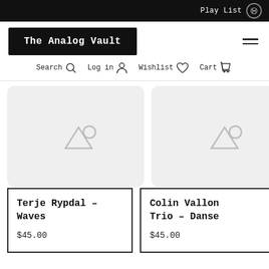Play List
The Analog Vault
Search  Log in  Wishlist  Cart
[Figure (photo): Album placeholder image card 1 (light gray background with faint mountain/photo icon)]
[Figure (photo): Album placeholder image card 2 (light gray background with faint mountain/photo icon)]
Terje Rypdal – Waves
$45.00
Colin Vallon Trio – Danse
$45.00